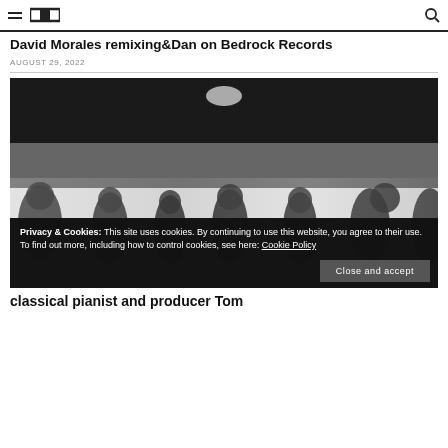David Morales remixing&Dan on Bedrock Records
AUGUST 29, 2022
[Figure (photo): Black and white blurred motion photograph of several people walking, silhouetted against a light background, with a dark sky or ceiling above]
Privacy & Cookies: This site uses cookies. By continuing to use this website, you agree to their use. To find out more, including how to control cookies, see here: Cookie Policy
Close and accept
classical pianist and producer Tom